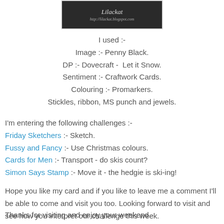[Figure (photo): Dark banner image with decorative script text and a URL (http://lilackat.blogspot.com), appearing to be a blog header image with a cat silhouette or similar ornament.]
I used :-
Image :- Penny Black.
DP :- Dovecraft -  Let it Snow.
Sentiment :- Craftwork Cards.
Colouring :- Promarkers.
Stickles, ribbon, MS punch and jewels.
I'm entering the following challenges :-
Friday Sketchers :- Sketch.
Fussy and Fancy :- Use Christmas colours.
Cards for Men :- Transport - do skis count?
Simon Says Stamp :- Move it - the hedgie is ski-ing!
Hope you like my card and if you like to leave me a comment I'll be able to come and visit you too. Looking forward to visit and see how you interpret our challenge this week.
Thanks for visiting and enjoy your weekend.